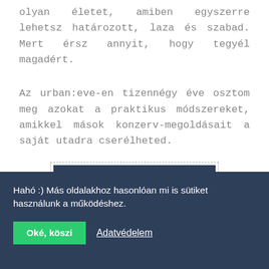olyan életet, amiben egyszerre lehetsz határozott, laza és szabad. Mert érsz annyit, hogy tegyél magadért.
Az urban:eve-en tizennégy éve osztom meg azokat a praktikus módszereket, amikkel mások konzerv-megoldásait a saját utadra cserélheted.
[Figure (other): Button with dashed border containing dark navy rectangle with text 'ÚJ VAGY? KEZDD ITT!']
Hahó :) Más oldalakhoz hasonlóan mi is sütiket használunk a működéshez.
Oké, köszi   Adatvédelem